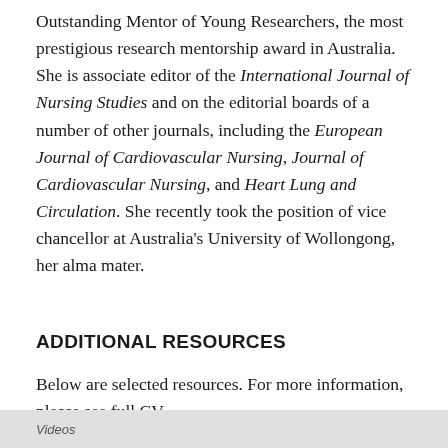Outstanding Mentor of Young Researchers, the most prestigious research mentorship award in Australia. She is associate editor of the International Journal of Nursing Studies and on the editorial boards of a number of other journals, including the European Journal of Cardiovascular Nursing, Journal of Cardiovascular Nursing, and Heart Lung and Circulation. She recently took the position of vice chancellor at Australia's University of Wollongong, her alma mater.
ADDITIONAL RESOURCES
Below are selected resources. For more information, please see full CV.
[Figure (other): Gray bar at bottom of page, partially visible, with text beginning 'Videos']